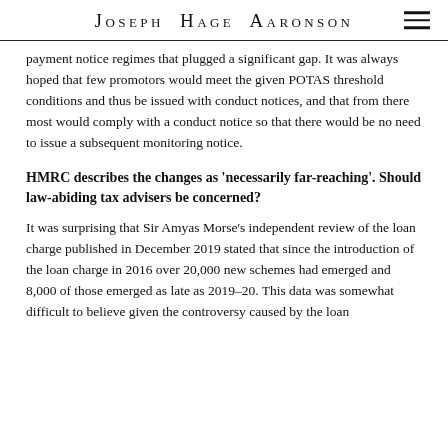Joseph Hage Aaronson
payment notice regimes that plugged a significant gap. It was always hoped that few promotors would meet the given POTAS threshold conditions and thus be issued with conduct notices, and that from there most would comply with a conduct notice so that there would be no need to issue a subsequent monitoring notice.
HMRC describes the changes as 'necessarily far-reaching'. Should law-abiding tax advisers be concerned?
It was surprising that Sir Amyas Morse's independent review of the loan charge published in December 2019 stated that since the introduction of the loan charge in 2016 over 20,000 new schemes had emerged and 8,000 of those emerged as late as 2019–20. This data was somewhat difficult to believe given the controversy caused by the loan